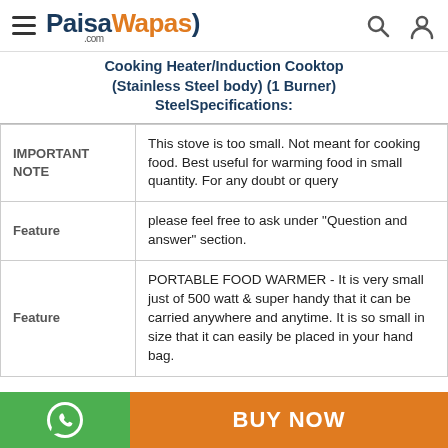PaisaWapas.com
Cooking Heater/Induction Cooktop (Stainless Steel body) (1 Burner) SteelSpecifications:
|  |  |
| --- | --- |
| IMPORTANT NOTE | This stove is too small. Not meant for cooking food. Best useful for warming food in small quantity. For any doubt or query |
| Feature | please feel free to ask under "Question and answer" section. |
| Feature | PORTABLE FOOD WARMER - It is very small just of 500 watt & super handy that it can be carried anywhere and anytime. It is so small in size that it can easily be placed in your hand bag. |
BUY NOW